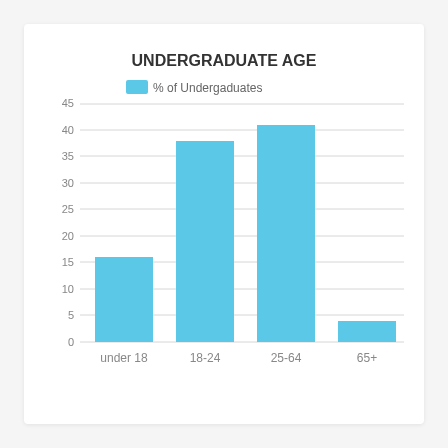[Figure (bar-chart): UNDERGRADUATE AGE]